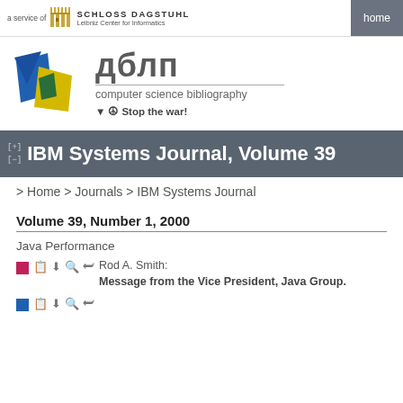a service of SCHLOSS DAGSTUHL Leibniz Center for Informatics | home
[Figure (logo): DBLP computer science bibliography logo with colored geometric shapes (blue, yellow, green triangles)]
дблп
computer science bibliography
▼ ☮ Stop the war!
[+] [-] IBM Systems Journal, Volume 39
> Home > Journals > IBM Systems Journal
Volume 39, Number 1, 2000
Java Performance
Rod A. Smith: Message from the Vice President, Java Group.
(next entry partially visible)